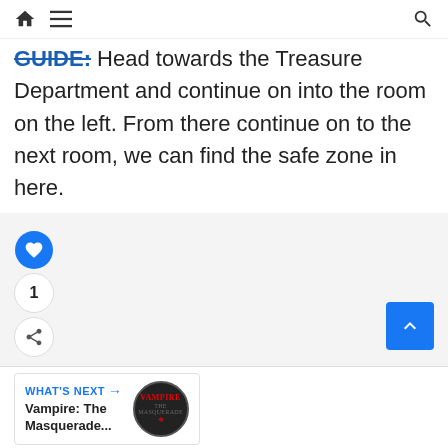Home Menu Search
GUIDE: Head towards the Treasure Department and continue on into the room on the left. From there continue on to the next room, we can find the safe zone in here.
[Figure (screenshot): Social interaction sidebar with like button (heart icon, blue circle), count of 1, and share button. Blue up-arrow button on the right. What's Next card showing Vampire: The Masquerade... with circular game thumbnail.]
[Figure (infographic): Advertisement banner: It's time to talk about Alzheimer's. LEARN MORE button. Alzheimer's association logo. Close button.]